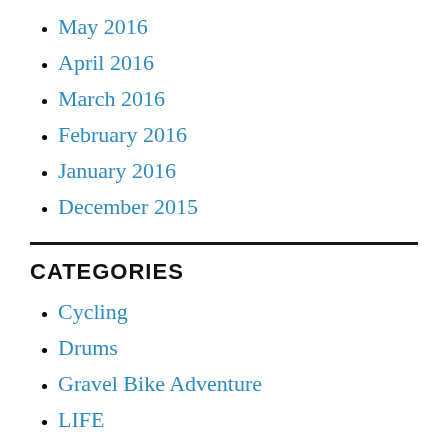May 2016
April 2016
March 2016
February 2016
January 2016
December 2015
CATEGORIES
Cycling
Drums
Gravel Bike Adventure
LIFE
Muscle Car Search